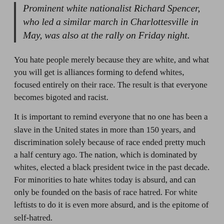Prominent white nationalist Richard Spencer, who led a similar march in Charlottesville in May, was also at the rally on Friday night.
You hate people merely because they are white, and what you will get is alliances forming to defend whites, focused entirely on their race. The result is that everyone becomes bigoted and racist.
It is important to remind everyone that no one has been a slave in the United states in more than 150 years, and discrimination solely because of race ended pretty much a half century ago. The nation, which is dominated by whites, elected a black president twice in the past decade. For minorities to hate whites today is absurd, and can only be founded on the basis of race hatred. For white leftists to do it is even more absurd, and is the epitome of self-hatred.
As always, the battle here is between those who treat each person as an individual, and those who can only see them as